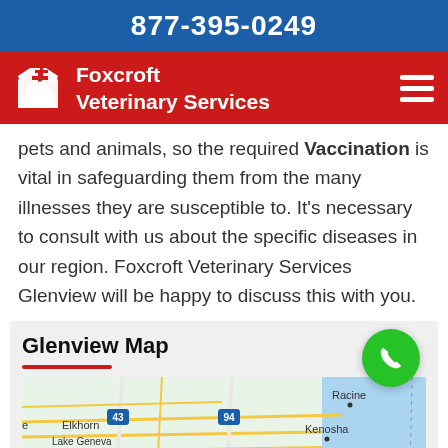877-395-0249
[Figure (logo): Foxcroft Veterinary Services logo with white dog/cat silhouette and plus sign on red background, with hamburger menu icon]
pets and animals, so the required Vaccination is vital in safeguarding them from the many illnesses they are susceptible to. It's necessary to consult with us about the specific diseases in our region. Foxcroft Veterinary Services Glenview will be happy to discuss this with you.
Glenview Map
[Figure (map): Google Maps view showing Glenview area including Racine, Kenosha, Elkhorn, Lake Geneva, with highway markers 43 and 94, blue water on right side]